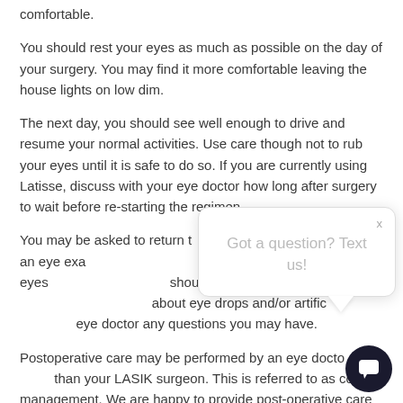comfortable.
You should rest your eyes as much as possible on the day of your surgery. You may find it more comfortable leaving the house lights on low dim.
The next day, you should see well enough to drive and resume your normal activities. Use care though not to rub your eyes until it is safe to do so. If you are currently using Latisse, discuss with your eye doctor how long after surgery to wait before re-starting the regimen.
You may be asked to return t following day for an eye exa vision and be sure your eyes should. You will be given any about eye drops and/or artific eye doctor any questions you may have.
[Figure (screenshot): Chat popup widget with text 'Got a question? Text us!' and a dark circular chat button in the bottom right corner.]
Postoperative care may be performed by an eye docto than your LASIK surgeon. This is referred to as co-management. We are happy to provide post-operative care for